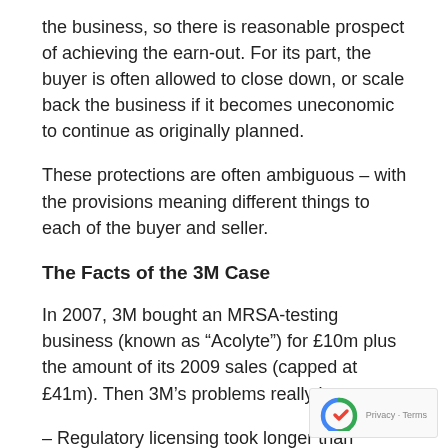the business, so there is reasonable prospect of achieving the earn-out. For its part, the buyer is often allowed to close down, or scale back the business if it becomes uneconomic to continue as originally planned.
These protections are often ambiguous – with the provisions meaning different things to each of the buyer and seller.
The Facts of the 3M Case
In 2007, 3M bought an MRSA-testing business (known as “Acolyte”) for £10m plus the amount of its 2009 sales (capped at £41m). Then 3M’s problems really began:
– Regulatory licensing took longer than expected
– The product performed poorly, and